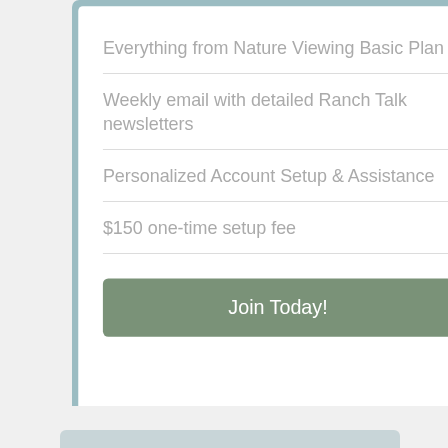Everything from Nature Viewing Basic Plan
Weekly email with detailed Ranch Talk newsletters
Personalized Account Setup & Assistance
$150 one-time setup fee
Join Today!